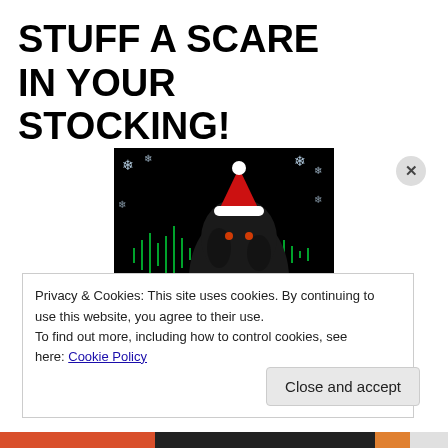STUFF A SCARE IN YOUR STOCKING!
[Figure (illustration): Paranormal Eh? podcast Christmas-themed artwork: dark hairy creature wearing a Santa hat, with a Christmas tree, gift box, green audio waveform, and snowflake decorations on black background. Text reads 'Paranormal Eh?' in red.]
Privacy & Cookies: This site uses cookies. By continuing to use this website, you agree to their use.
To find out more, including how to control cookies, see here: Cookie Policy
Close and accept